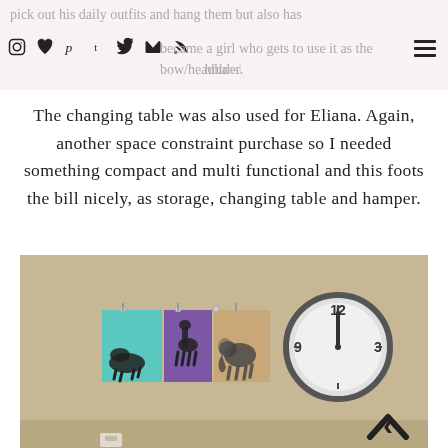pick out his daily outfits and hang them but also has become a girl who gets to use it as the bow/headband holder.
The changing table was also used for Eliana. Again, another space constraint purchase so I needed something compact and multi functional and this foots the bill nicely, as storage, changing table and hamper.
[Figure (photo): Room wall with three colorful animal art panels (teal, purple, tan) showing zebra, giraffe, elephant silhouettes, and a round wall clock on the right showing approximately 12:00. A scroll-up chevron arrow is visible in the bottom right corner.]